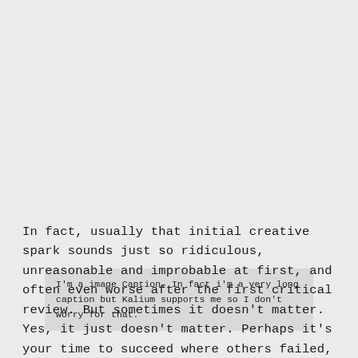I'm a image Caption. In fact i'm a very long caption but Kalium supports me so I don't worry for that.
In fact, usually that initial creative spark sounds just so ridiculous, unreasonable and improbable at first, and often even worse after the first critical review. But sometimes it doesn't matter. Yes, it just doesn't matter. Perhaps it's your time to succeed where others failed, and risk your personal time to gain strength, experience and wisdom that others gained before you. Perhaps you are doomed to fail, but you might build something in the end that will lead you to success in the future as you